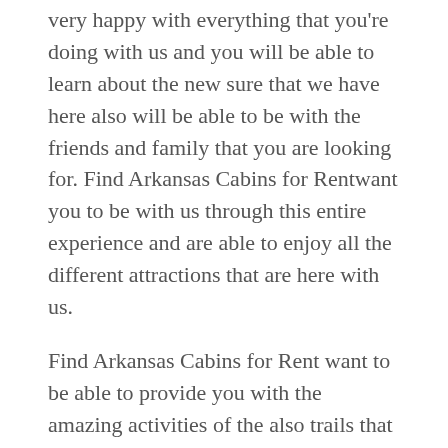very happy with everything that you're doing with us and you will be able to learn about the new sure that we have here also will be able to be with the friends and family that you are looking for. Find Arkansas Cabins for Rentwant you to be with us through this entire experience and are able to enjoy all the different attractions that are here with us.
Find Arkansas Cabins for Rent want to be able to provide you with the amazing activities of the also trails that are going to be able to give you points of view of the scenery. Want to make sure that you're able to have this going to be able to be able to do this with your friends and family. We truly care about and he wants you to enjoy because of very high quality. Our high-quality trails are going to be very durable for you to walk on and you are going to